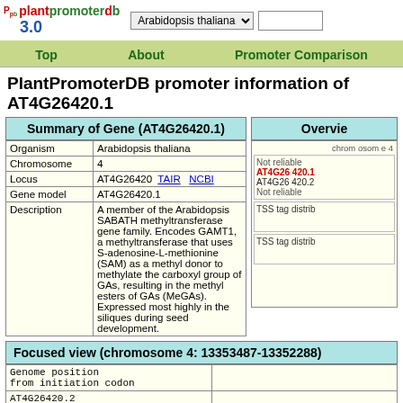plantpromoterdb 3.0 | Arabidopsis thaliana | Top | About | Promoter Comparison
PlantPromoterDB promoter information of AT4G26420.1
Summary of Gene (AT4G26420.1)
| Field | Value |
| --- | --- |
| Organism | Arabidopsis thaliana |
| Chromosome | 4 |
| Locus | AT4G26420  TAIR  NCBI |
| Gene model | AT4G26420.1 |
| Description | A member of the Arabidopsis SABATH methyltransferase gene family. Encodes GAMT1, a methyltransferase that uses S-adenosine-L-methionine (SAM) as a methyl donor to methylate the carboxyl group of GAs, resulting in the methyl esters of GAs (MeGAs). Expressed most highly in the siliques during seed development. |
Overview
chromosome 4
Not reliable
AT4G26420.1
AT4G26420.2
Not reliable
TSS tag distrib
TSS tag distrib
Focused view (chromosome 4: 13353487-13352288)
| Column1 | Column2 |
| --- | --- |
| Genome position
from initiation codon |  |
| AT4G26420.2 |  |
| TSS from cDNA |  |